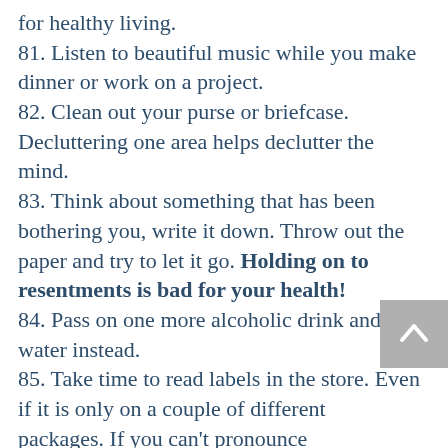for healthy living.
81. Listen to beautiful music while you make dinner or work on a project.
82. Clean out your purse or briefcase. Decluttering one area helps declutter the mind.
83. Think about something that has been bothering you, write it down. Throw out the paper and try to let it go. Holding on to resentments is bad for your health!
84. Pass on one more alcoholic drink and have water instead.
85. Take time to read labels in the store. Even if it is only on a couple of different packages. If you can't pronounce